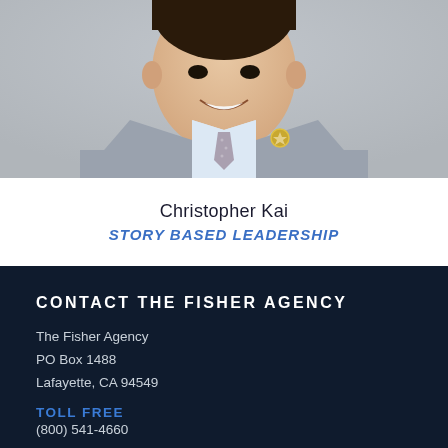[Figure (photo): Professional headshot/portrait of Christopher Kai, a young man in a gray blazer with a light blue shirt and patterned tie, smiling against a light gray background. A small gold pin/badge is visible on his lapel.]
Christopher Kai
STORY BASED LEADERSHIP
CONTACT THE FISHER AGENCY
The Fisher Agency
PO Box 1488
Lafayette, CA 94549
TOLL FREE
(800) 541-4660